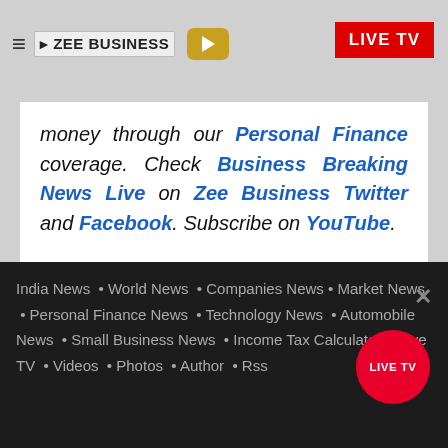ZEE BUSINESS | LIVE TV
money through our Personal Finance coverage. Check Business Breaking News Live on Zee Business Twitter and Facebook. Subscribe on YouTube.
India News • World News • Companies News • Market News • Personal Finance News • Technology News • Automobile News • Small Business News • Income Tax Calculator • Live TV • Videos • Photos • Author • Rss